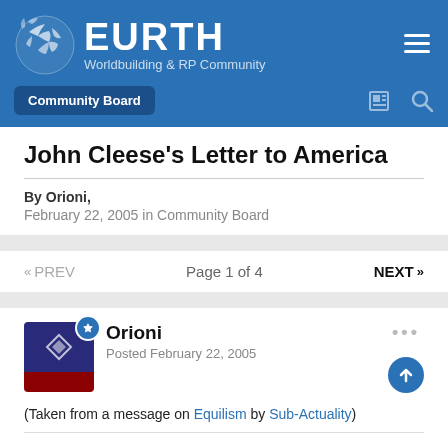EURTH — Worldbuilding & RP Community
John Cleese's Letter to America
By Orioni,
February 22, 2005 in Community Board
« PREV   Page 1 of 4   NEXT »
Orioni
Posted February 22, 2005
(Taken from a message on Equilism by Sub-Actuality)